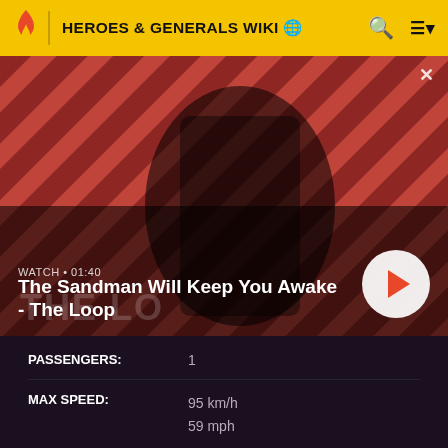HEROES & GENERALS WIKI
[Figure (screenshot): Video thumbnail for 'The Sandman Will Keep You Awake - The Loop' showing a dark-clad figure with a raven on shoulder against red diagonal stripe background. Shows WATCH • 01:40 label and play button.]
PASSENGERS: 1
MAX SPEED: 95 km/h
59 mph